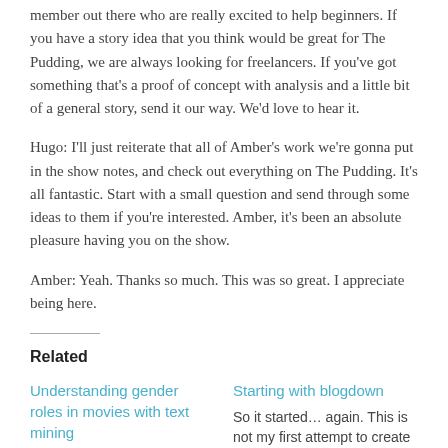member out there who are really excited to help beginners. If you have a story idea that you think would be great for The Pudding, we are always looking for freelancers. If you've got something that's a proof of concept with analysis and a little bit of a general story, send it our way. We'd love to hear it.
Hugo: I'll just reiterate that all of Amber's work we're gonna put in the show notes, and check out everything on The Pudding. It's all fantastic. Start with a small question and send through some ideas to them if you're interested. Amber, it's been an absolute pleasure having you on the show.
Amber: Yeah. Thanks so much. This was so great. I appreciate being here.
Related
Understanding gender roles in movies with text mining
I have a new visual essay up at The Pudding today, using text mining to explore
Starting with blogdown
So it started… again. This is not my first attempt to create a blog for data science and R, but